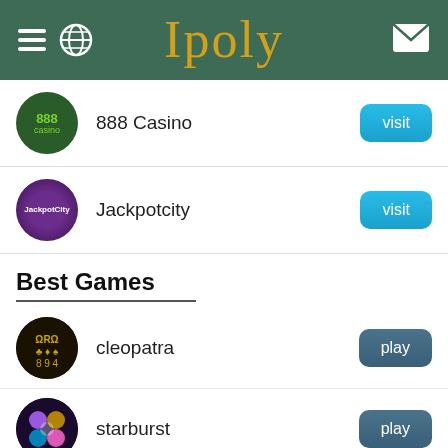Ipoly
888 Casino — visit
Jackpotcity — visit
Best Games
cleopatra — play
starburst — play
fluffy favourites — play
Lucky Larry's Lobstermania 2 — play
the wild life — play